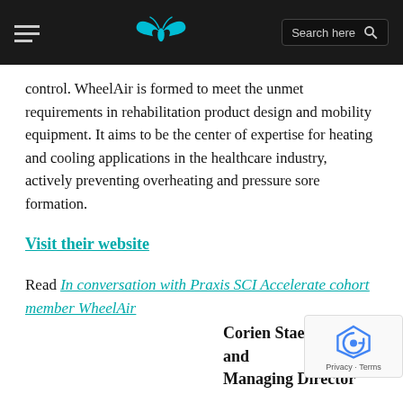WheelAir website header with hamburger menu, butterfly logo, and search bar
control. WheelAir is formed to meet the unmet requirements in rehabilitation product design and mobility equipment. It aims to be the center of expertise for heating and cooling applications in the healthcare industry, actively preventing overheating and pressure sore formation.
Visit their website
Read In conversation with Praxis SCI Accelerate cohort member WheelAir
Corien Staels, Founder and Managing Director